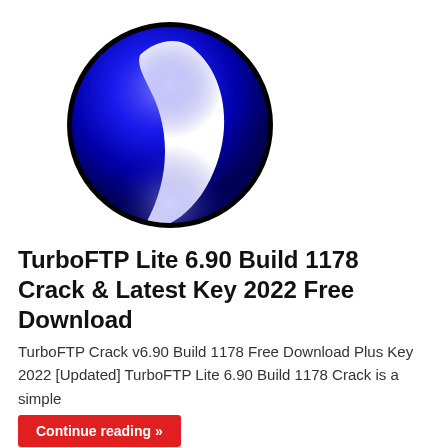[Figure (logo): TurboFTP logo: a dark navy/blue glossy sphere with a white curved lightning-bolt or checkmark shape inside, set against a white background]
TurboFTP Lite 6.90 Build 1178 Crack & Latest Key 2022 Free Download
TurboFTP Crack v6.90 Build 1178 Free Download Plus Key 2022 [Updated] TurboFTP Lite 6.90 Build 1178 Crack is a simple
Continue reading »